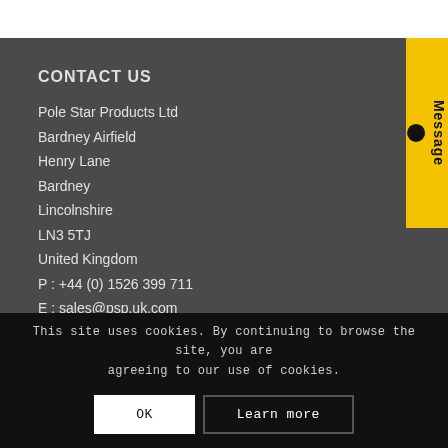CONTACT US
Pole Star Products Ltd
Bardney Airfield
Henry Lane
Bardney
Lincolnshire
LN3 5TJ
United Kingdom
P : +44 (0) 1526 399 711
E : sales@psp.uk.com
[Figure (other): Yellow vertical tab on right side with 'Message' text rotated 90 degrees and a black dot icon]
This site uses cookies. By continuing to browse the site, you are agreeing to our use of cookies.
OK
Learn more